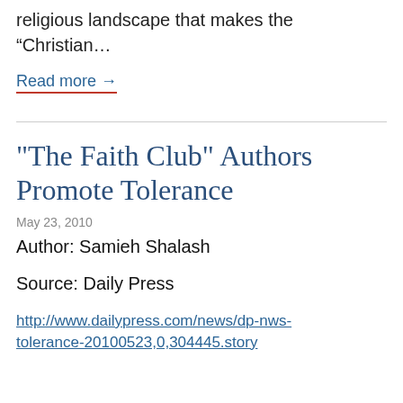religious landscape that makes the “Christian…
Read more →
"The Faith Club" Authors Promote Tolerance
May 23, 2010
Author: Samieh Shalash
Source: Daily Press
http://www.dailypress.com/news/dp-nws-tolerance-20100523,0,304445.story